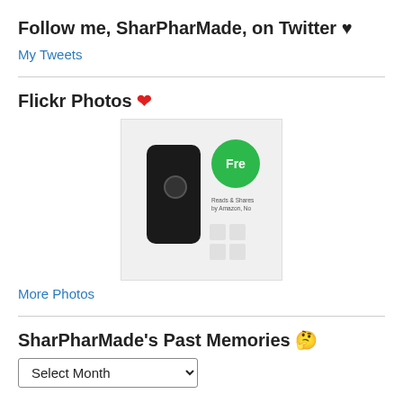Follow me, SharPharMade, on Twitter ♥
My Tweets
Flickr Photos ❤
[Figure (photo): Product photo of a small black security camera device next to a green badge with 'Fre' text and small icons]
More Photos
SharPharMade's Past Memories 🤔
Select Month (dropdown)
Blogroll